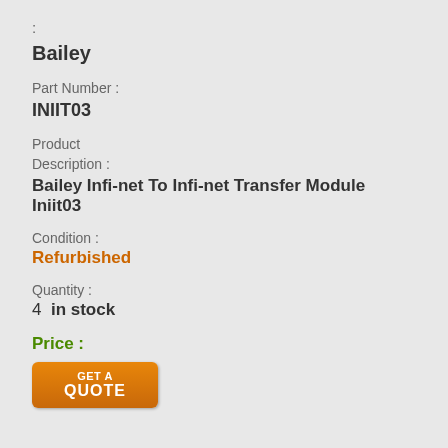:
Bailey
Part Number :
INIIT03
Product Description :
Bailey Infi-net To Infi-net Transfer Module Iniit03
Condition :
Refurbished
Quantity :
4  in stock
Price :
[Figure (other): Orange 'GET A QUOTE' button]